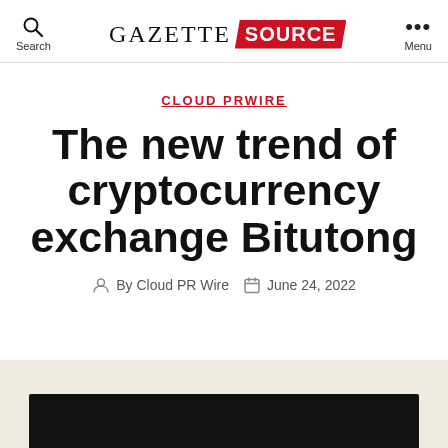GAZETTE SOURCE — Search | Menu
CLOUD PRWIRE
The new trend of cryptocurrency exchange Bitutong
By Cloud PR Wire   June 24, 2022
[Figure (photo): Dark background image at the bottom of the page, partially visible]